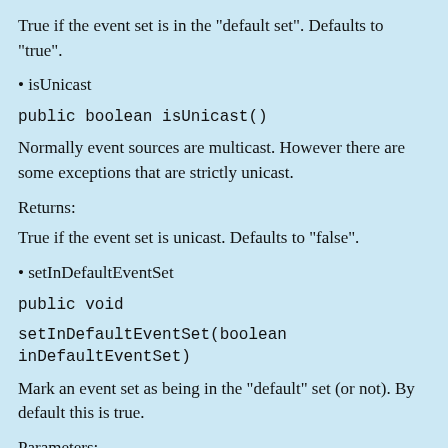True if the event set is in the "default set". Defaults to "true".
• isUnicast
public boolean isUnicast()
Normally event sources are multicast. However there are some exceptions that are strictly unicast.
Returns:
True if the event set is unicast. Defaults to "false".
• setInDefaultEventSet
public void
setInDefaultEventSet(boolean inDefaultEventSet)
Mark an event set as being in the "default" set (or not). By default this is true.
Parameters:
inDef...